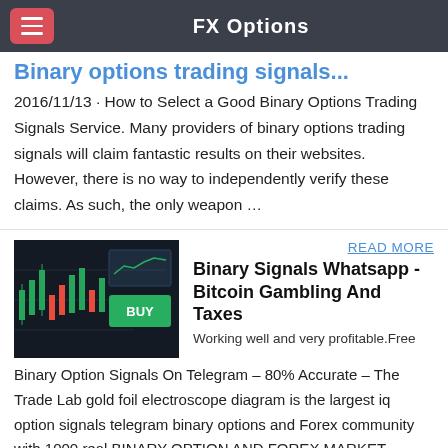FX Options
Binary options trading signals...
2016/11/13 · How to Select a Good Binary Options Trading Signals Service. Many providers of binary options trading signals will claim fantastic results on their websites. However, there is no way to independently verify these claims. As such, the only weapon …
[Figure (screenshot): Screenshot of a trading chart interface with candlestick data and a green BUY button overlay]
READ MORE
Binary Signals Whatsapp - Bitcoin Gambling And Taxes
Working well and very profitable.Free Binary Option Signals On Telegram – 80% Accurate – The Trade Lab gold foil electroscope diagram is the largest iq option signals telegram binary options and Forex community with 1000 real BINARY OPTION AND FOREX MARKET TELEGRAM SIGNAL GROUP!
[Figure (screenshot): Dark/black image thumbnail for second article]
READ MORE